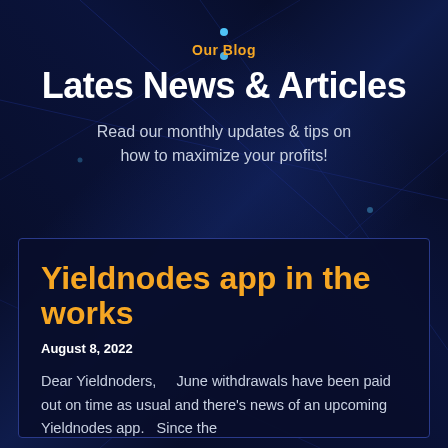Our Blog
Lates News & Articles
Read our monthly updates & tips on how to maximize your profits!
Yieldnodes app in the works
August 8, 2022
Dear Yieldnoders,     June withdrawals have been paid out on time as usual and there's news of an upcoming Yieldnodes app.   Since the
Read More »